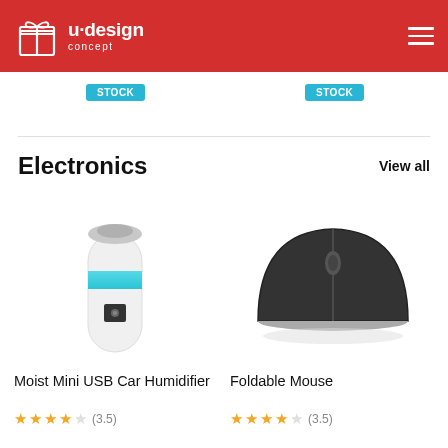[Figure (logo): u·design concept logo in white on red header with hamburger menu icon]
Stock  Stock
Electronics
View all
[Figure (photo): Moist Mini USB Car Humidifier - white cylindrical humidifier with teal ring light]
Moist Mini USB Car Humidifier
★★★★☆ (3.5)
[Figure (photo): Foldable Mouse - black and silver arc-shaped wireless mouse]
Foldable Mouse
★★★★☆ (3.5)